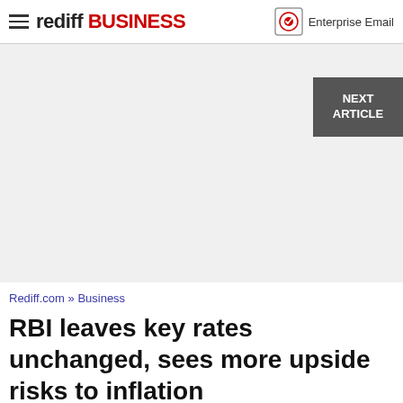rediff BUSINESS | Enterprise Email
[Figure (other): Advertisement placeholder / gray banner area]
Rediff.com » Business
RBI leaves key rates unchanged, sees more upside risks to inflation
Source: PTI
June 07, 2016